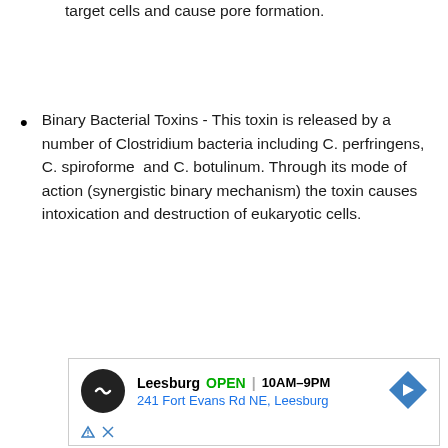target cells and cause pore formation.
Binary Bacterial Toxins - This toxin is released by a number of Clostridium bacteria including C. perfringens, C. spiroforme  and C. botulinum. Through its mode of action (synergistic binary mechanism) the toxin causes intoxication and destruction of eukaryotic cells.
[Figure (other): Advertisement box showing Leesburg store location: OPEN 10AM-9PM, 241 Fort Evans Rd NE, Leesburg, with logo and navigation arrow icon]